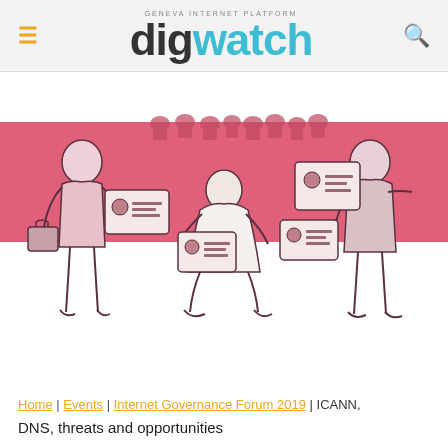digwatch — Geneva Internet Platform
[Figure (illustration): Illustration of multiple figures holding up identity/ID cards in front of a pink horizontal band background. A person on the left holds a briefcase and an ID card, a central kneeling figure in white robes holds an ID card, and a figure on the right points to an ID card on a wall. A digital/surveillance theme with a crowd silhouette at the top.]
Home | Events | Internet Governance Forum 2019 | ICANN, DNS, threats and opportunities